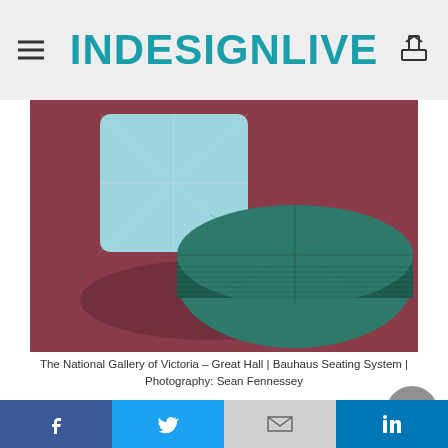INDESIGNLIVE
[Figure (photo): Two modular seating ottomans — a light blue square with stitched cross pattern and a dark green circular ottoman with ribbed sides and stitched cross pattern — on a deep red/maroon carpet]
The National Gallery of Victoria – Great Hall | Bauhaus Seating System | Photography: Sean Fennessey
The result was a compact collection of seating inspired by the Bauhaus movement, and by one of the gallery's most